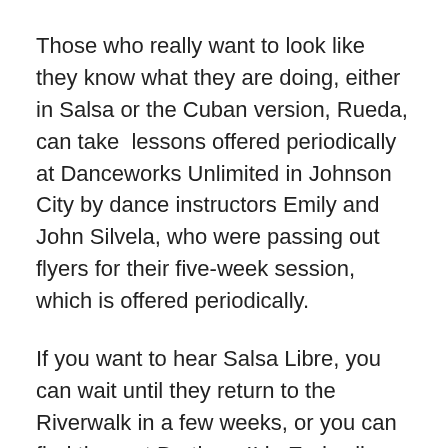Those who really want to look like they know what they are doing, either in Salsa or the Cuban version, Rueda, can take  lessons offered periodically at Danceworks Unlimited in Johnson City by dance instructors Emily and John Silvela, who were passing out flyers for their five-week session, which is offered periodically.
If you want to hear Salsa Libre, you can wait until they return to the Riverwalk in a few weeks, or you can find them at Brothers II in Endwell on a Sunday evening, also once a month. A $5 cover there includes a coupon for a future visit to the restaurant. The group also plays from time to time atthe  Lost Dog in Binghamton and have been invited to perform at a club in Ithaca, too (details to come).
It's possible that this flurry of activity from the band has